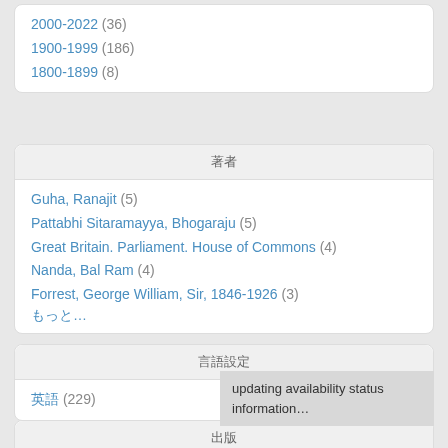2000-2022 (36)
1900-1999 (186)
1800-1899 (8)
著者
Guha, Ranajit (5)
Pattabhi Sitaramayya, Bhogaraju (5)
Great Britain. Parliament. House of Commons (4)
Nanda, Bal Ram (4)
Forrest, George William, Sir, 1846-1926 (3)
もっと…
言語設定
英語 (229)
updating availability status information…
出版